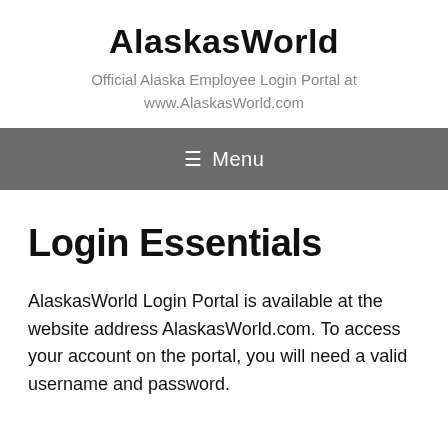AlaskasWorld
Official Alaska Employee Login Portal at www.AlaskasWorld.com
≡ Menu
Login Essentials
AlaskasWorld Login Portal is available at the website address AlaskasWorld.com. To access your account on the portal, you will need a valid username and password.